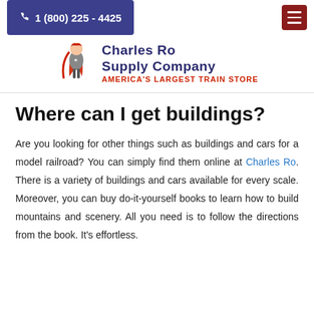1 (800) 225 - 4425
[Figure (logo): Charles Ro Supply Company logo with superhero figure and text 'America's Largest Train Store']
Where can I get buildings?
Are you looking for other things such as buildings and cars for a model railroad? You can simply find them online at Charles Ro. There is a variety of buildings and cars available for every scale. Moreover, you can buy do-it-yourself books to learn how to build mountains and scenery. All you need is to follow the directions from the book. It's effortless.